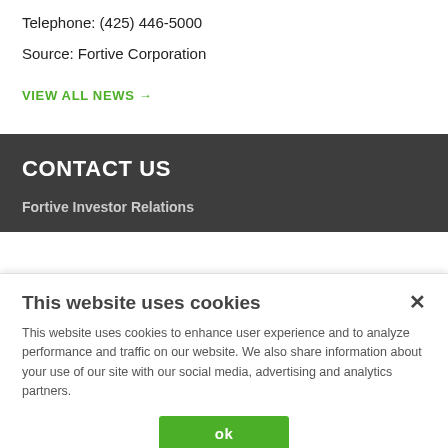Telephone: (425) 446-5000
Source: Fortive Corporation
VIEW ALL NEWS →
CONTACT US
Fortive Investor Relations
This website uses cookies
This website uses cookies to enhance user experience and to analyze performance and traffic on our website. We also share information about your use of our site with our social media, advertising and analytics partners.
ok